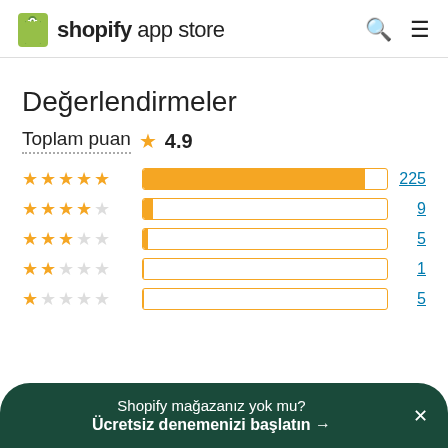shopify app store
Değerlendirmeler
Toplam puan ★ 4.9
[Figure (bar-chart): Rating distribution]
Shopify mağazanız yok mu? Ücretsiz denemenizi başlatın →